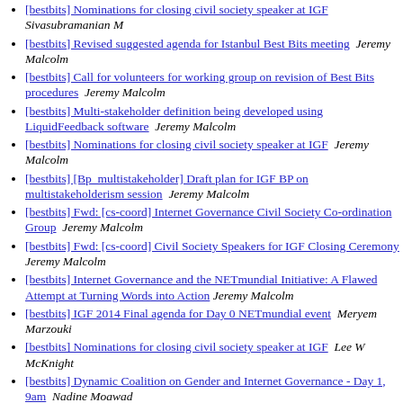[bestbits] Nominations for closing civil society speaker at IGF  Sivasubramanian M
[bestbits] Revised suggested agenda for Istanbul Best Bits meeting  Jeremy Malcolm
[bestbits] Call for volunteers for working group on revision of Best Bits procedures  Jeremy Malcolm
[bestbits] Multi-stakeholder definition being developed using LiquidFeedback software  Jeremy Malcolm
[bestbits] Nominations for closing civil society speaker at IGF  Jeremy Malcolm
[bestbits] [Bp_multistakeholder] Draft plan for IGF BP on multistakeholderism session  Jeremy Malcolm
[bestbits] Fwd: [cs-coord] Internet Governance Civil Society Co-ordination Group  Jeremy Malcolm
[bestbits] Fwd: [cs-coord] Civil Society Speakers for IGF Closing Ceremony  Jeremy Malcolm
[bestbits] Internet Governance and the NETmundial Initiative: A Flawed Attempt at Turning Words into Action  Jeremy Malcolm
[bestbits] IGF 2014 Final agenda for Day 0 NETmundial event  Meryem Marzouki
[bestbits] Nominations for closing civil society speaker at IGF  Lee W McKnight
[bestbits] Dynamic Coalition on Gender and Internet Governance - Day 1, 9am  Nadine Moawad